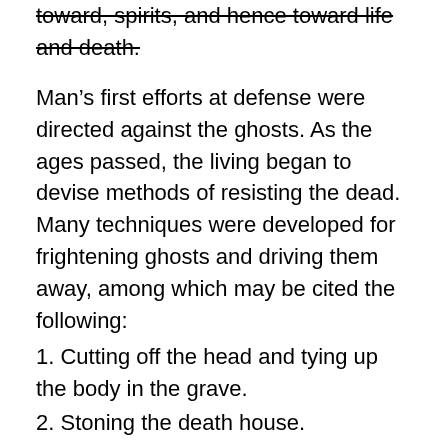toward, spirits, and hence toward life and death.
Man’s first efforts at defense were directed against the ghosts. As the ages passed, the living began to devise methods of resisting the dead. Many techniques were developed for frightening ghosts and driving them away, among which may be cited the following:
1. Cutting off the head and tying up the body in the grave.
2. Stoning the death house.
3. Castration or breaking the legs of the corpse.
4. Burying under stones, one origin of the modern tombstone.
5. Cremation, a later-day invention to prevent ghost trouble.
6. Casting the body into the sea.
7. Exposure of the body to be eaten by wild animals.